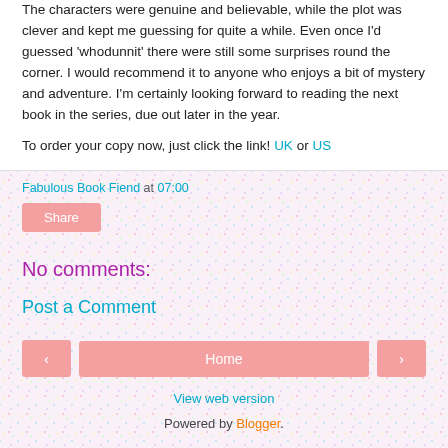The characters were genuine and believable, while the plot was clever and kept me guessing for quite a while. Even once I'd guessed 'whodunnit' there were still some surprises round the corner. I would recommend it to anyone who enjoys a bit of mystery and adventure. I'm certainly looking forward to reading the next book in the series, due out later in the year.
To order your copy now, just click the link! UK or US
Fabulous Book Fiend at 07:00
Share
No comments:
Post a Comment
Home
View web version
Powered by Blogger.